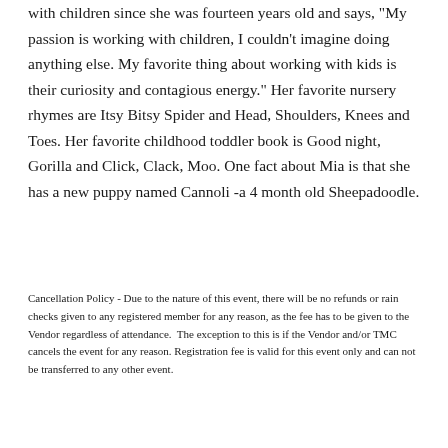with children since she was fourteen years old and says, "My passion is working with children, I couldn't imagine doing anything else. My favorite thing about working with kids is their curiosity and contagious energy." Her favorite nursery rhymes are Itsy Bitsy Spider and Head, Shoulders, Knees and Toes. Her favorite childhood toddler book is Good night, Gorilla and Click, Clack, Moo. One fact about Mia is that she has a new puppy named Cannoli -a 4 month old Sheepadoodle.
Cancellation Policy - Due to the nature of this event, there will be no refunds or rain checks given to any registered member for any reason, as the fee has to be given to the Vendor regardless of attendance.  The exception to this is if the Vendor and/or TMC cancels the event for any reason. Registration fee is valid for this event only and can not be transferred to any other event.